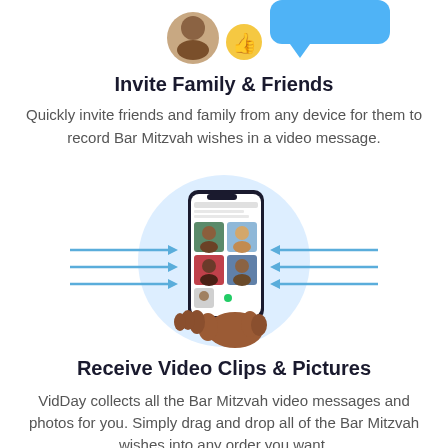[Figure (illustration): Top portion showing a person avatar with a thumbs up emoji and blue speech bubble chat icon, partially cropped at top]
Invite Family & Friends
Quickly invite friends and family from any device for them to record Bar Mitzvah wishes in a video message.
[Figure (illustration): Hand holding a smartphone with a light blue circular background. The phone screen shows a video collection grid with four person thumbnails (two men, one woman, one child) and arrows pointing inward from left and right sides indicating receiving video clips from multiple people.]
Receive Video Clips & Pictures
VidDay collects all the Bar Mitzvah video messages and photos for you. Simply drag and drop all of the Bar Mitzvah wishes into any order you want.